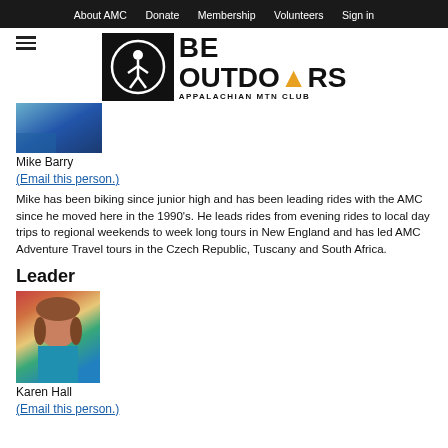About AMC  Donate  Membership  Volunteers  Sign in
[Figure (logo): BE OUTDOORS Appalachian Mtn Club logo with circular AMC symbol]
[Figure (photo): Mike Barry profile photo - person on bicycle]
Mike Barry
(Email this person.)
Mike has been biking since junior high and has been leading rides with the AMC since he moved here in the 1990's. He leads rides from evening rides to local day trips to regional weekends to week long tours in New England and has led AMC Adventure Travel tours in the Czech Republic, Tuscany and South Africa.
Leader
[Figure (photo): Karen Hall profile photo - woman with brown hair wearing teal top]
Karen Hall
(Email this person.)